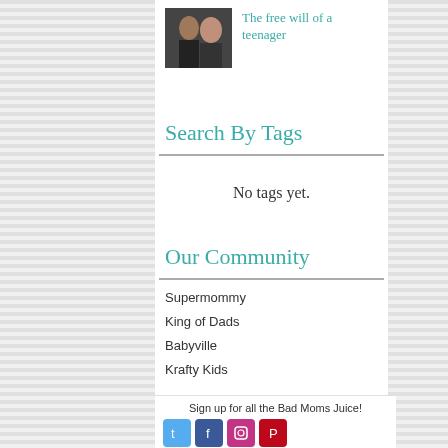[Figure (photo): Thumbnail photo of a woman and child, used as article image]
The free will of a teenager
Search By Tags
No tags yet.
Our Community
Supermommy
King of Dads
Babyville
Krafty Kids
Sign up for all the Bad Moms Juice!
[Figure (illustration): Social media icons row: Twitter, Facebook, Instagram, Pinterest]